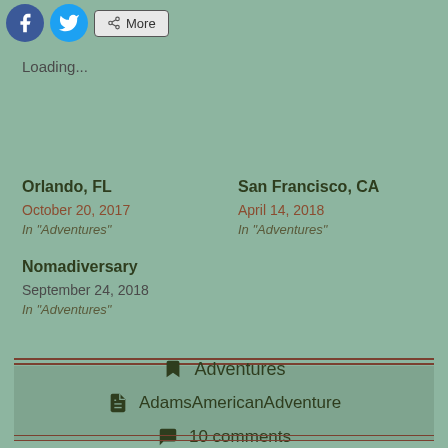[Figure (other): Social media share buttons: Facebook (blue circle), Twitter (blue circle), and a More button]
Loading...
Orlando, FL
October 20, 2017
In "Adventures"
San Francisco, CA
April 14, 2018
In "Adventures"
Nomadiversary
September 24, 2018
In "Adventures"
Adventures
AdamsAmericanAdventure
10 comments